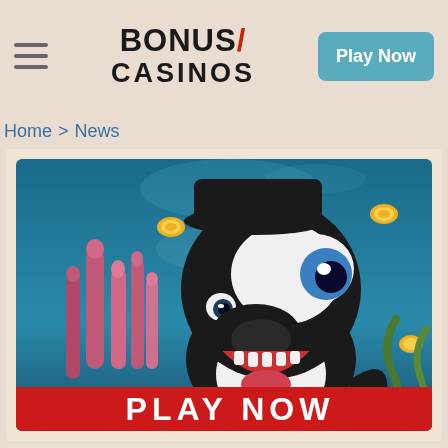BONUS/ CASINOS | Play Now
Home > News
[Figure (illustration): Animated cartoon orca/killer whale character smiling with teeth, wearing a black hat, surrounded by pink sea coral and golden coins in an underwater scene, with a red 'PLAY NOW' button at the bottom.]